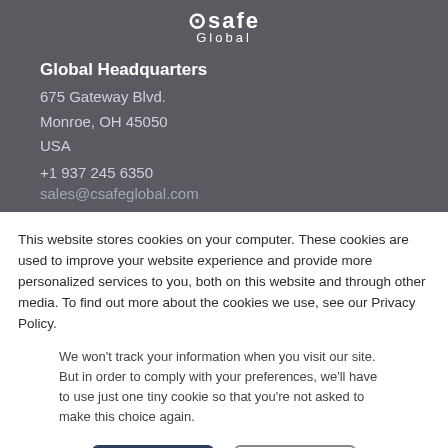[Figure (logo): cSafe Global logo with circular emblem and 'Global' text below]
Global Headquarters
675 Gateway Blvd.
Monroe, OH 45050
USA
+1 937 245 6350
sales@csafeglobal.com
This website stores cookies on your computer. These cookies are used to improve your website experience and provide more personalized services to you, both on this website and through other media. To find out more about the cookies we use, see our Privacy Policy.
We won't track your information when you visit our site. But in order to comply with your preferences, we'll have to use just one tiny cookie so that you're not asked to make this choice again.